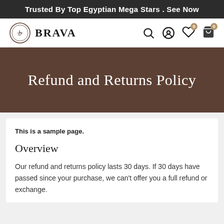Trusted By Top Egyptian Mega Stars . See Now
[Figure (logo): Brava brand logo with circular emblem and text BRAVA]
Refund and Returns Policy
This is a sample page.
Overview
Our refund and returns policy lasts 30 days. If 30 days have passed since your purchase, we can't offer you a full refund or exchange.